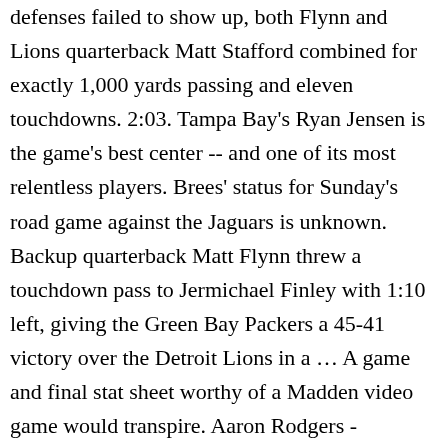defenses failed to show up, both Flynn and Lions quarterback Matt Stafford combined for exactly 1,000 yards passing and eleven touchdowns. 2:03. Tampa Bay's Ryan Jensen is the game's best center -- and one of its most relentless players. Brees' status for Sunday's road game against the Jaguars is unknown. Backup quarterback Matt Flynn threw a touchdown pass to Jermichael Finley with 1:10 left, giving the Green Bay Packers a 45-41 victory over the Detroit Lions in a … A game and final stat sheet worthy of a Madden video game would transpire. Aaron Rodgers - Wikipedia During a